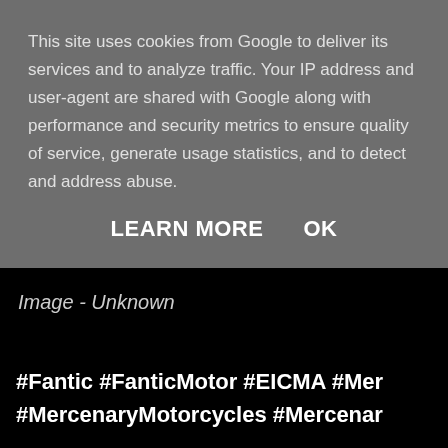This site uses cookies from Google to deliver its services and to analyze traffic. Your IP address and user-agent are shared with Google along with performance and security metrics to ensure quality of service, generate usage statistics, and to detect and address abuse.
LEARN MORE   OK
Image - Unknown
#Fantic #FanticMotor #EICMA #Mer... #MercenaryMotorcycles #Mercenar...